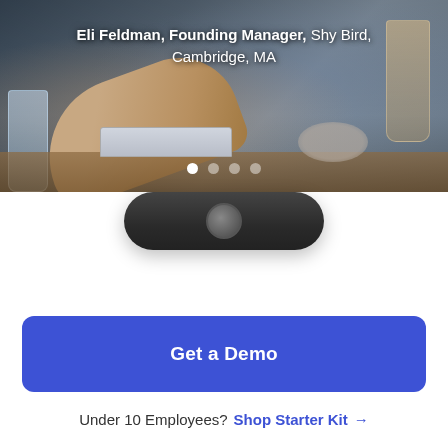[Figure (photo): Restaurant/dining scene showing a person's arm at a table with glasses, a laptop, and dining items. Dark overlay with a testimonial caption.]
Eli Feldman, Founding Manager, Shy Bird, Cambridge, MA
[Figure (photo): A dark oval-shaped payment terminal device shown from above.]
Get a Demo
Under 10 Employees?  Shop Starter Kit →